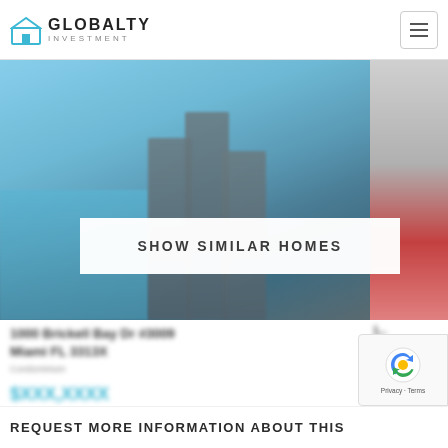GLOBALTY INVESTMENT
[Figure (photo): Blurred view of modern high-rise building with glass pillars and waterfront/sky background]
SHOW SIMILAR HOMES
1000 Brickell Bay Dr #3009
Miami FL 3313X
$XXX,XXXX
REQUEST MORE INFORMATION ABOUT THIS